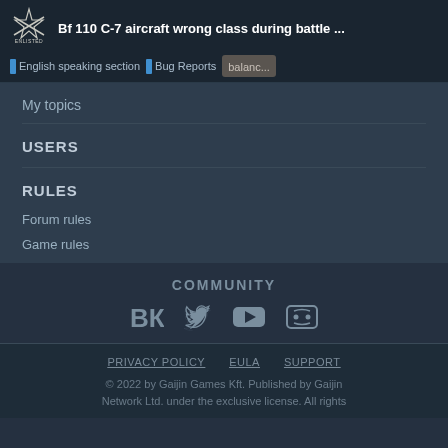Bf 110 C-7 aircraft wrong class during battle ... | English speaking section | Bug Reports | balanc...
My topics
USERS
RULES
Forum rules
Game rules
COMMUNITY
[Figure (other): Social media icons: VK, Twitter, YouTube, Discord]
PRIVACY POLICY   EULA   SUPPORT
© 2022 by Gaijin Games Kft. Published by Gaijin Network Ltd. under the exclusive license. All rights